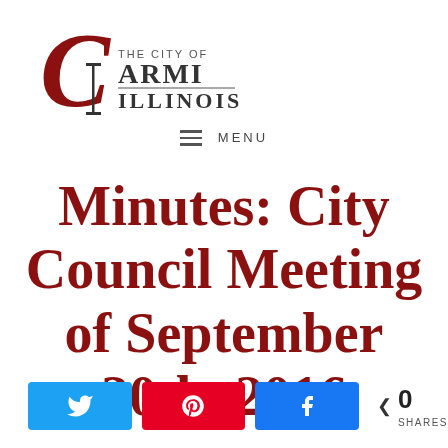[Figure (logo): The City of Carmi Illinois logo with a decorative red cursive C and black serif lettering]
≡ MENU
Minutes: City Council Meeting of September 20th, 2016
Twitter share, Pinterest pin, Facebook share buttons, 0 SHARES